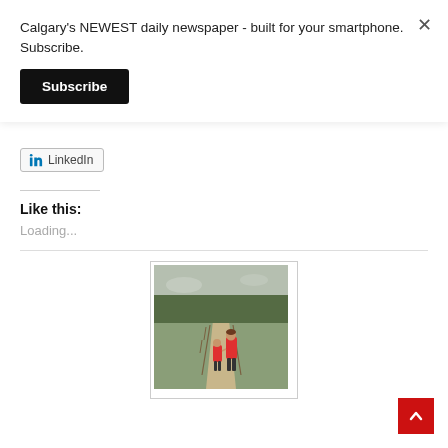Calgary's NEWEST daily newspaper - built for your smartphone. Subscribe.
Subscribe
LinkedIn
Like this:
Loading...
[Figure (photo): Two people wearing red jackets walking hand-in-hand on a dirt path through a rural field with trees in background, viewed from behind.]